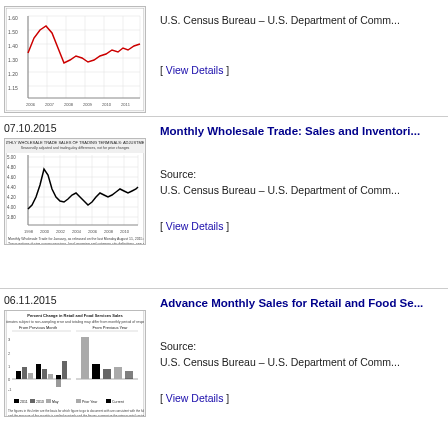[Figure (line-chart): Line chart showing retail/wholesale trade data with red line, grid, y-axis labels]
U.S. Census Bureau – U.S. Department of Comm...
[ View Details ]
07.10.2015
Monthly Wholesale Trade: Sales and Inventori...
[Figure (line-chart): Line chart showing monthly wholesale trade data with black line]
Source:
U.S. Census Bureau – U.S. Department of Comm...
[ View Details ]
06.11.2015
Advance Monthly Sales for Retail and Food Se...
[Figure (grouped-bar-chart): Grouped bar chart showing percent change in retail and food services sales]
Source:
U.S. Census Bureau – U.S. Department of Comm...
[ View Details ]